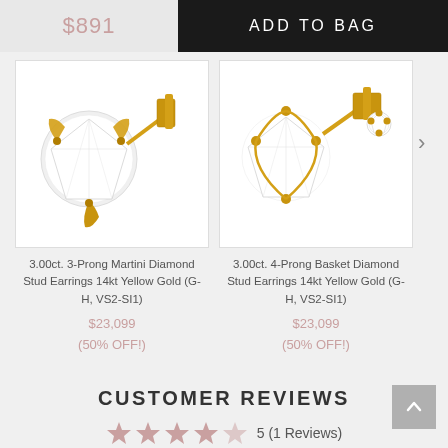$891
ADD TO BAG
[Figure (photo): 3.00ct. 3-Prong Martini Diamond Stud Earrings 14kt Yellow Gold (G-H, VS2-SI1) — product photo showing diamond stud earrings with yellow gold martini prong setting]
3.00ct. 3-Prong Martini Diamond Stud Earrings 14kt Yellow Gold (G-H, VS2-SI1)
$23,099
(50% OFF!)
[Figure (photo): 3.00ct. 4-Prong Basket Diamond Stud Earrings 14kt Yellow Gold (G-H, VS2-SI1) — product photo showing diamond stud earrings with yellow gold basket prong setting]
3.00ct. 4-Prong Basket Diamond Stud Earrings 14kt Yellow Gold (G-H, VS2-SI1)
$23,099
(50% OFF!)
CUSTOMER REVIEWS
5 (1 Reviews)
LEAVE REVIEW